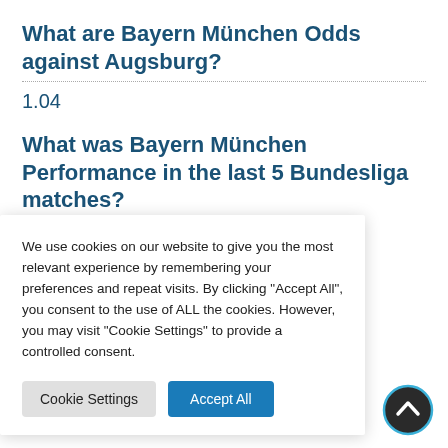What are Bayern München Odds against Augsburg?
1.04
What was Bayern München Performance in the last 5 Bundesliga matches?
ing Tips –
utive wins to put itself on
We use cookies on our website to give you the most relevant experience by remembering your preferences and repeat visits. By clicking "Accept All", you consent to the use of ALL the cookies. However, you may visit "Cookie Settings" to provide a controlled consent.
[Figure (other): Cookie consent dialog with Cookie Settings and Accept All buttons]
[Figure (other): Circular scroll-to-top button with chevron icon, dark background with blue border]